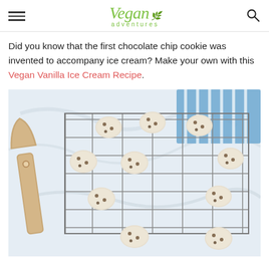Vegan adventures
Did you know that the first chocolate chip cookie was invented to accompany ice cream? Make your own with this Vegan Vanilla Ice Cream Recipe.
[Figure (photo): Overhead view of chocolate chip cookies cooling on a wire rack on a marble surface, with a wooden spatula on the left and a blue and white striped cloth in the upper right corner.]